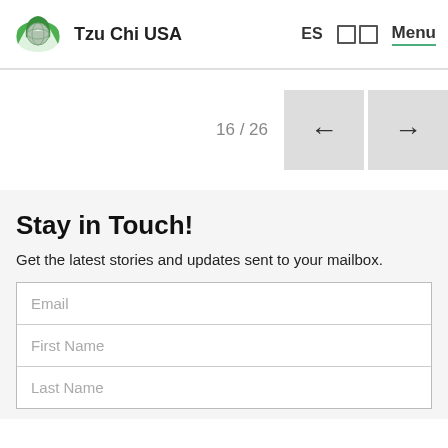Tzu Chi USA  ES  Menu
16 / 26
Stay in Touch!
Get the latest stories and updates sent to your mailbox.
Email
First Name
Last Name